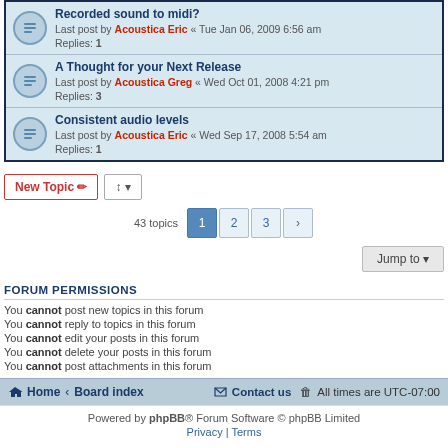Recorded sound to midi? — Last post by Acoustica Eric « Tue Jan 06, 2009 6:56 am — Replies: 1
A Thought for your Next Release — Last post by Acoustica Greg « Wed Oct 01, 2008 4:21 pm — Replies: 3
Consistent audio levels — Last post by Acoustica Eric « Wed Sep 17, 2008 5:54 am — Replies: 1
43 topics  1  2  3  >
Jump to
FORUM PERMISSIONS
You cannot post new topics in this forum
You cannot reply to topics in this forum
You cannot edit your posts in this forum
You cannot delete your posts in this forum
You cannot post attachments in this forum
Home · Board index   Contact us   All times are UTC-07:00   Powered by phpBB® Forum Software © phpBB Limited   Privacy | Terms